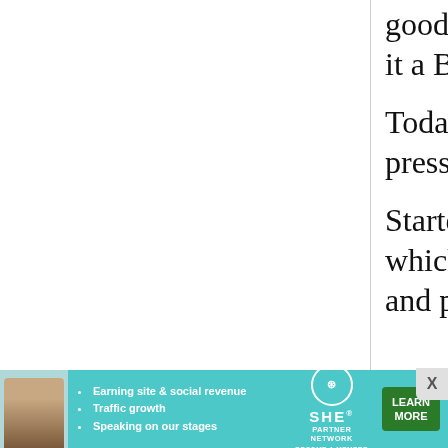good and the quality is really excellent, making it a BEST BUY in any language.

Today made my first batch of tofu using this press,its great.

Started out with 400 grams of dry soy beans which yielded 586 grams of tofu after draining and pressing
[Figure (other): Advertisement banner for SHE Partner Network at the bottom of the page, with a woman photo, bullet points about earning site & social revenue, traffic growth, speaking on our stages, SHE logo, and a Learn More button.]